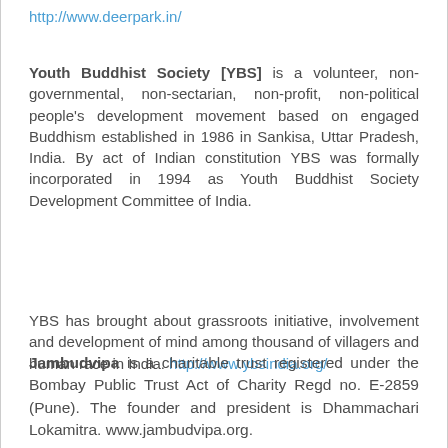http://www.deerpark.in/
Youth Buddhist Society [YBS] is a volunteer, non-governmental, non-sectarian, non-profit, non-political people's development movement based on engaged Buddhism established in 1986 in Sankisa, Uttar Pradesh, India. By act of Indian constitution YBS was formally incorporated in 1994 as Youth Buddhist Society Development Committee of India.
YBS has brought about grassroots initiative, involvement and development of mind among thousand of villagers and human race in India. http://www.ybsindia.org/
Jambudvipa is a charitable trust registered under the Bombay Public Trust Act of Charity Regd no. E-2859 (Pune). The founder and president is Dhammachari Lokamitra. www.jambudvipa.org.